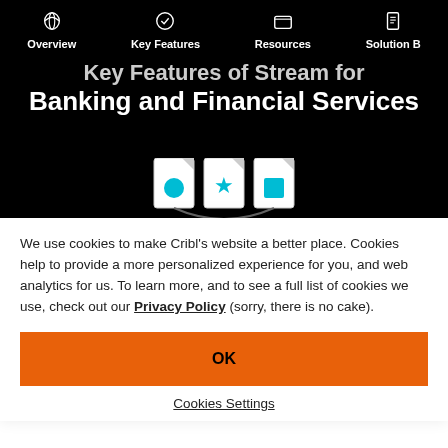Overview | Key Features | Resources | Solution B
Key Features of Stream for Banking and Financial Services
[Figure (illustration): Three document icons with colored shapes (circle, star, square) representing data routing/filtering, partially visible connector below]
We use cookies to make Cribl’s website a better place. Cookies help to provide a more personalized experience for you, and web analytics for us. To learn more, and to see a full list of cookies we use, check out our Privacy Policy (sorry, there is no cake).
OK
Cookies Settings